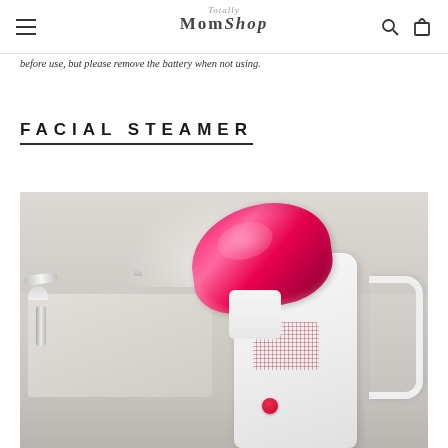Totally Mom Shop
before use, but please remove the battery when not using.
FACIAL STEAMER
[Figure (photo): Photo of a white and pink/red facial steamer device sitting on a bathroom sink counter next to a chrome faucet. The steamer has a hot pink/magenta interior cup/nozzle and white body with red accent dots and a circular button.]